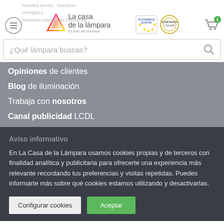[Figure (screenshot): Website header of La Casa de la Lámpara with logo, ecommerce trust badges, hamburger menu, and shopping cart icon]
Nuestra tienda · Nuestras ventajas · Nuestras marcas de confianza
¿Qué lámpara buscas?
Opiniones de clientes
Blog de iluminación
Trabaja con nosotros
Canal publicidad LCDL
Aviso informativo
En La Casa de la Lámpara usamos cookies propias y de terceros con finalidad analítica y publicitaria para ofrecerte una experiencia más relevante recordando tus preferencias y visitas repetidas. Puedes informarte más sobre qué cookies estamos utilizando y desactivarlas.
Configurar cookies  Aceptar